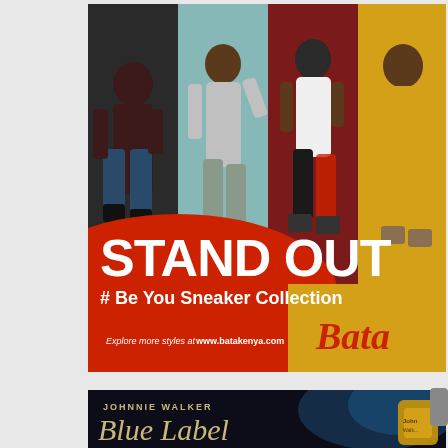[Figure (illustration): Bata shoes advertisement: 'STAND OUT # Be You Sneaker Collection'. Four young people jumping against colored background panels (dark teal, light teal/gray, dark red/maroon, yellow). Large white bold text 'STAND OUT', subtitle '# Be You Sneaker Collection'. Red curved shape at bottom left with text 'Explore more styles at www.batakenya.com'. Bata logo in red cursive script at bottom right.]
[Figure (illustration): Johnnie Walker Blue Label whisky advertisement. Dark background with blue smoke/light. 'JOHNNIE WALKER' in small caps, 'Blue Label' in large serif script. Partial view of gold whisky bottle cap on right side.]